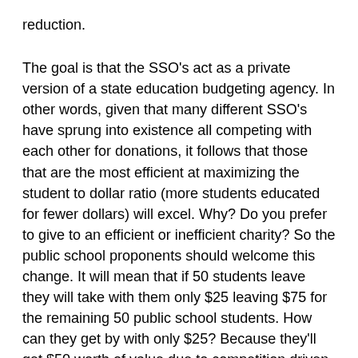reduction.
The goal is that the SSO's act as a private version of a state education budgeting agency. In other words, given that many different SSO's have sprung into existence all competing with each other for donations, it follows that those that are the most efficient at maximizing the student to dollar ratio (more students educated for fewer dollars) will excel. Why? Do you prefer to give to an efficient or inefficient charity? So the public school proponents should welcome this change. It will mean that if 50 students leave they will take with them only $25 leaving $75 for the remaining 50 public school students. How can they get by with only $25? Because they'll get $50 worth of value due to competition driven market efficiency.
Of course in a truly market based system it would not be necessary to have all sorts of complicated tax credits and state chartered charities. Until the pedagogical-socialists let go of their superstitious fear of freedom that compels them